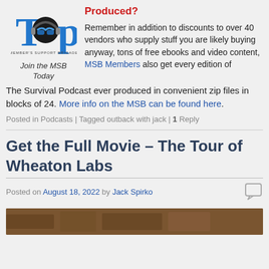[Figure (logo): TOP Member's Support Brigade logo with headphones]
Join the MSB Today
Produced?
Remember in addition to discounts to over 40 vendors who supply stuff you are likely buying anyway, tons of free ebooks and video content, MSB Members also get every edition of The Survival Podcast ever produced in convenient zip files in blocks of 24. More info on the MSB can be found here.
Posted in Podcasts | Tagged outback with jack | 1 Reply
Get the Full Movie – The Tour of Wheaton Labs
Posted on August 18, 2022 by Jack Spirko
[Figure (photo): Partial thumbnail image at bottom of page]